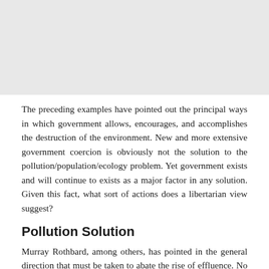[Figure (other): Gray image placeholder at the top of the page]
The preceding examples have pointed out the principal ways in which government allows, encourages, and accomplishes the destruction of the environment. New and more extensive government coercion is obviously not the solution to the pollution/population/ecology problem. Yet government exists and will continue to exists as a major factor in any solution. Given this fact, what sort of actions does a libertarian view suggest?
Pollution Solution
Murray Rothbard, among others, has pointed in the general direction that must be taken to abate the rise of effluence. No programs, no bureaus, no tax dollars are needed; all that is required is that the courts charge